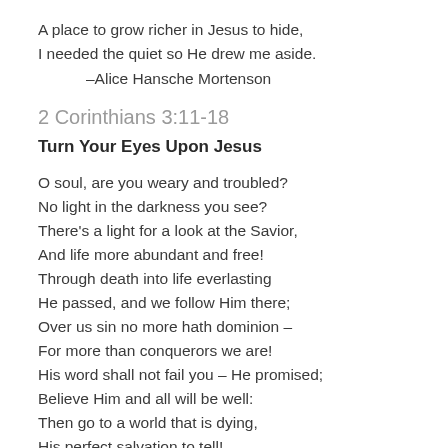A place to grow richer in Jesus to hide,
I needed the quiet so He drew me aside.
–Alice Hansche Mortenson
2 Corinthians 3:11-18
Turn Your Eyes Upon Jesus
O soul, are you weary and troubled?
No light in the darkness you see?
There's a light for a look at the Savior,
And life more abundant and free!
Through death into life everlasting
He passed, and we follow Him there;
Over us sin no more hath dominion –
For more than conquerors we are!
His word shall not fail you – He promised;
Believe Him and all will be well:
Then go to a world that is dying,
His perfect salvation to tell!
Turn your eyes upon Jesus,